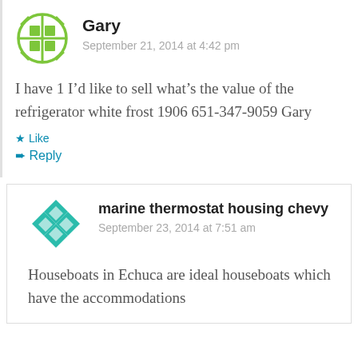Gary
September 21, 2014 at 4:42 pm
I have 1 I’d like to sell what’s the value of the refrigerator white frost 1906 651-347-9059 Gary
Like
Reply
marine thermostat housing chevy
September 23, 2014 at 7:51 am
Houseboats in Echuca are ideal houseboats which have the accommodations